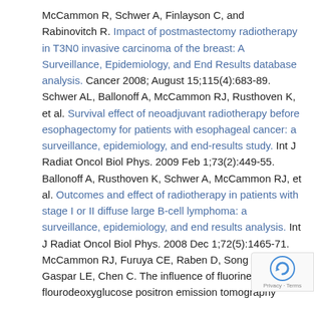McCammon R, Schwer A, Finlayson C, and Rabinovitch R. Impact of postmastectomy radiotherapy in T3N0 invasive carcinoma of the breast: A Surveillance, Epidemiology, and End Results database analysis. Cancer 2008; August 15;115(4):683-89.
Schwer AL, Ballonoff A, McCammon RJ, Rusthoven K, et al. Survival effect of neoadjuvant radiotherapy before esophagectomy for patients with esophageal cancer: a surveillance, epidemiology, and end-results study. Int J Radiat Oncol Biol Phys. 2009 Feb 1;73(2):449-55.
Ballonoff A, Rusthoven K, Schwer A, McCammon RJ, et al. Outcomes and effect of radiotherapy in patients with stage I or II diffuse large B-cell lymphoma: a surveillance, epidemiology, and end results analysis. Int J Radiat Oncol Biol Phys. 2008 Dec 1;72(5):1465-71.
McCammon RJ, Furuya CE, Raben D, Song JI, Kan, Gaspar LE, Chen C. The influence of fluorine-18-flourodeoxyglucose positron emission tomography...
[Figure (other): reCAPTCHA badge with Privacy - Terms label in bottom right corner]